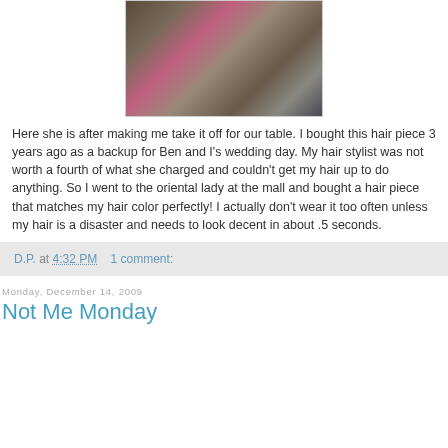[Figure (photo): Photo of people sitting at a restaurant table, woman in pink/magenta sweater in center]
Here she is after making me take it off for our table. I bought this hair piece 3 years ago as a backup for Ben and I's wedding day. My hair stylist was not worth a fourth of what she charged and couldn't get my hair up to do anything. So I went to the oriental lady at the mall and bought a hair piece that matches my hair color perfectly! I actually don't wear it too often unless my hair is a disaster and needs to look decent in about .5 seconds.
D.P. at 4:32 PM    1 comment:
Monday, December 14, 2009
Not Me Monday